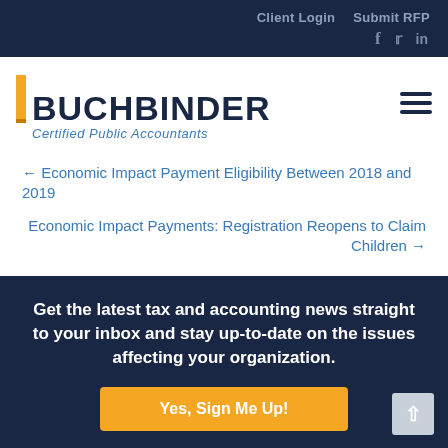Client Login   Submit RFP
[Figure (logo): Buchbinder Certified Public Accountants logo with orange vertical bar accent]
← Economic Impact Payment Eligibility Between 2018 and 2019
Economic Impact Payments: Registration Reopens to Claim Children →
Get the latest tax and accounting news straight to your inbox and stay up-to-date on the issues affecting your organization.
Yes, Sign Me Up!